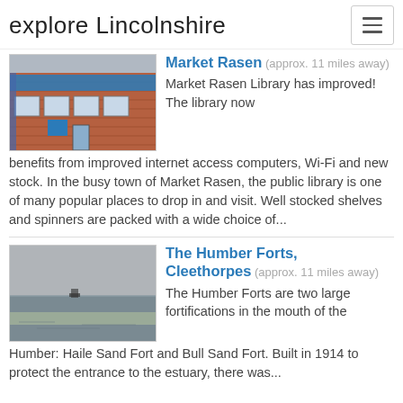explore Lincolnshire
[Figure (photo): Photo of Market Rasen Library building, a brick building with blue signage and windows]
Market Rasen (approx. 11 miles away) Market Rasen Library has improved! The library now benefits from improved internet access computers, Wi-Fi and new stock. In the busy town of Market Rasen, the public library is one of many popular places to drop in and visit. Well stocked shelves and spinners are packed with a wide choice of...
[Figure (photo): Photo of The Humber Forts, showing a wide flat seascape with a small fort structure visible in the distance]
The Humber Forts, Cleethorpes (approx. 11 miles away) The Humber Forts are two large fortifications in the mouth of the Humber: Haile Sand Fort and Bull Sand Fort. Built in 1914 to protect the entrance to the estuary, there was...